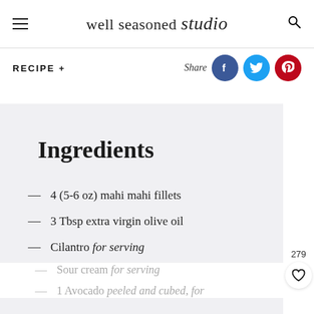well seasoned studio
RECIPE +
Share
Ingredients
4 (5-6 oz) mahi mahi fillets
3 Tbsp extra virgin olive oil
Cilantro for serving
Lime wedges for serving
Sour cream for serving
1 Avocado peeled and cubed, for